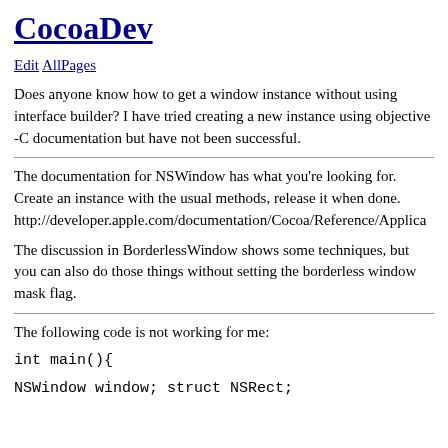CocoaDev
Edit AllPages
Does anyone know how to get a window instance without using interface builder? I have tried creating a new instance using objective -C documentation but have not been successful.
The documentation for NSWindow has what you’re looking for. Create an instance with the usual methods, release it when done. http://developer.apple.com/documentation/Cocoa/Reference/Applica
The discussion in BorderlessWindow shows some techniques, but you can also do those things without setting the borderless window mask flag.
The following code is not working for me:
int main(){
NSWindow window; struct NSRect;